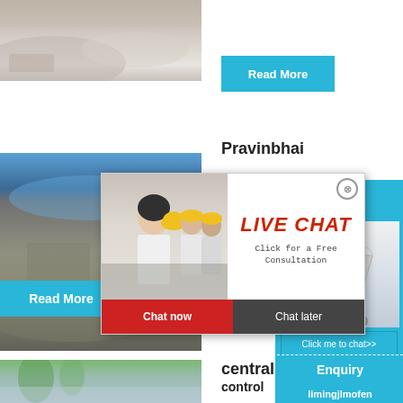[Figure (photo): Quarry or mining site with crushed stone/gravel, top strip]
Read More
Pravinbhai
[Figure (photo): Quarry/mining site with blue sky and rock piles, middle left]
hour online
[Figure (photo): Industrial cone crusher machine]
Click me to chat>>
Read More
Enquiry
central
limingjlmofen
[Figure (photo): Bottom strip with trees and sky]
control
[Figure (screenshot): Live chat popup overlay with people in hard hats, LIVE CHAT title, Chat now and Chat later buttons]